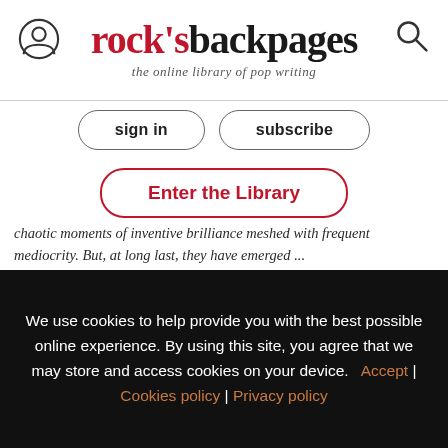rock's backpages — the online library of pop writing
sign in
subscribe
Enter the Library
chaotic moments of inventive brilliance meshed with frequent mediocrity. But, at long last, they have emerged ...
Horslips: Sham-Rock 1979
Interview by Jim Green, Trouser Press, July 1979
We use cookies to help provide you with the best possible online experience. By using this site, you agree that we may store and access cookies on your device.  Accept | Cookies policy | Privacy policy